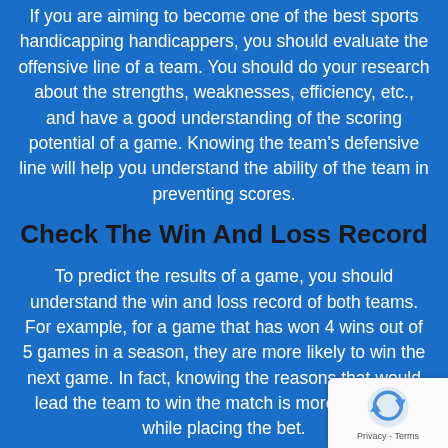If you are aiming to become one of the best sports handicapping handicappers, you should evaluate the offensive line of a team. You should do your research about the strengths, weaknesses, efficiency, etc., and have a good understanding of the scoring potential of a game. Knowing the team's defensive line will help you understand the ability of the team in preventing scores.
Check The Win And Loss Record
To predict the results of a game, you should understand the win and loss record of both teams. For example, for a game that has won 4 wins out of 5 games in a season, they are more likely to win the next game. In fact, knowing the reasons that would lead the team to win the match is more important while placing the bet.